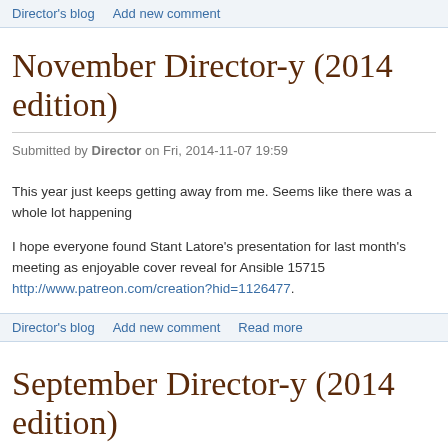Director's blog   Add new comment
November Director-y (2014 edition)
Submitted by Director on Fri, 2014-11-07 19:59
This year just keeps getting away from me. Seems like there was a whole lot happening
I hope everyone found Stant Latorre's presentation for last month's meeting as enjoyable cover reveal for Ansible 15715 http://www.patreon.com/creation?hid=1126477.
Director's blog   Add new comment   Read more
September Director-y (2014 edition)
Submitted by Director on Sat, 2014-09-06 16:48
It looked like our annual geek picnic went over well. We had a real good turnout this year themselves. I got some good pictures of it that I put up on our meetup page, http://www. Association/photos/239....